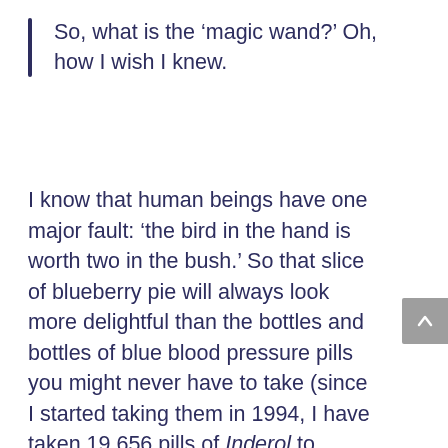So, what is the ‘magic wand?’ Oh, how I wish I knew.
I know that human beings have one major fault: ‘the bird in the hand is worth two in the bush.’ So that slice of blueberry pie will always look more delightful than the bottles and bottles of blue blood pressure pills you might never have to take (since I started taking them in 1994, I have taken 19,656 pills of Inderol to control my blood pressure). That bowl of ice cream will always taste better than days and days of blood glucose readings under 7.0. And that chocolate bar will always smell more